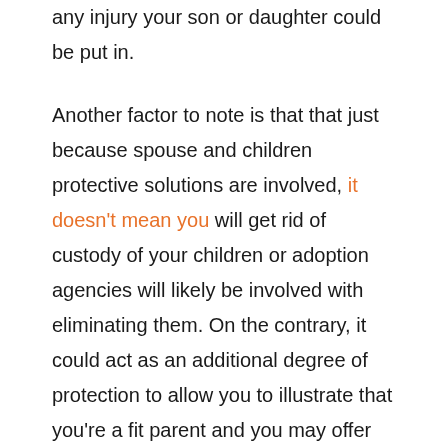any injury your son or daughter could be put in.
Another factor to note is that that just because spouse and children protective solutions are involved, it doesn't mean you will get rid of custody of your children or adoption agencies will likely be involved with eliminating them. On the contrary, it could act as an additional degree of protection to allow you to illustrate that you're a fit parent and you may offer the thing you should continue to keep your kids safe and healthy.
Document All Potentially Problematic Habits and